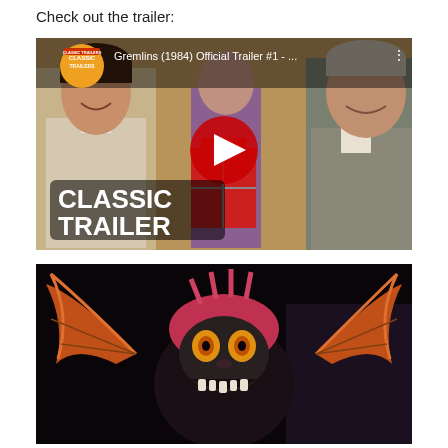Check out the trailer:
[Figure (screenshot): YouTube video thumbnail for 'Gremlins (1984) Official Trailer #1 - ...' showing Classic Trailers channel logo, two men interacting, with a large red YouTube play button in the center and 'CLASSIC TRAILER' text overlay in the lower left.]
[Figure (photo): Movie still from Gremlins (1984) showing a close-up of a menacing gremlin creature with orange/red wings spread, glowing eyes, and sharp teeth, against a dark background.]